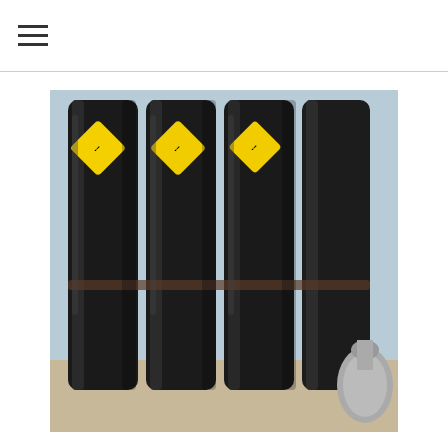≡
[Figure (photo): Four tall dark gas cylinders with yellow hazard diamond labels, standing upright in a row against a light blue wall. A smaller silver/grey gas cylinder is partially visible at the bottom right.]
As I suspected, the party this week was smaller than the previous week with people leaving and others engaged elsewhere. However, we still managed to get a boat out and we headed for the Jumbo, which we have